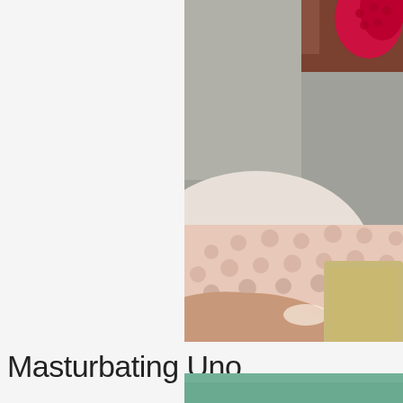[Figure (photo): A photo showing a person lying on a bed with a textured pink/white bedspread and a red knitted item visible in the upper right corner. A tan/gold colored rectangular object overlaps the lower right of the photo.]
Masturbating Und...
[Figure (photo): A teal/green colored banner or image at the bottom of the page.]